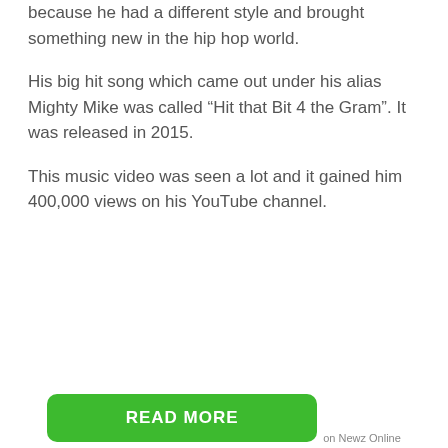because he had a different style and brought something new in the hip hop world.
His big hit song which came out under his alias Mighty Mike was called “Hit that Bit 4 the Gram”. It was released in 2015.
This music video was seen a lot and it gained him 400,000 views on his YouTube channel.
on Newz Online